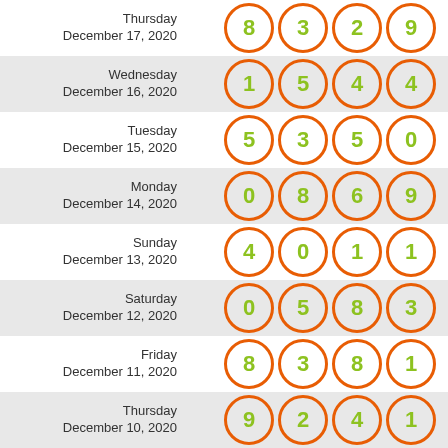| Date | Numbers |
| --- | --- |
| Thursday December 17, 2020 | 8 3 2 9 |
| Wednesday December 16, 2020 | 1 5 4 4 |
| Tuesday December 15, 2020 | 5 3 5 0 |
| Monday December 14, 2020 | 0 8 6 9 |
| Sunday December 13, 2020 | 4 0 1 1 |
| Saturday December 12, 2020 | 0 5 8 3 |
| Friday December 11, 2020 | 8 3 8 1 |
| Thursday December 10, 2020 | 9 2 4 1 |